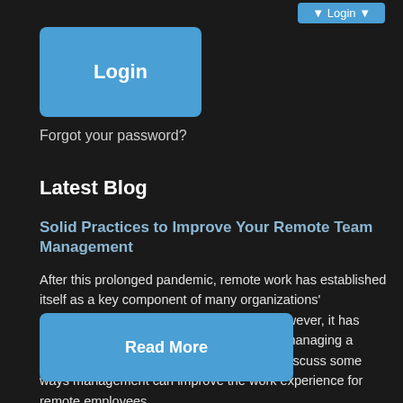[Figure (screenshot): Login dropdown button in top navigation bar]
[Figure (screenshot): Large blue Login button]
Forgot your password?
Latest Blog
Solid Practices to Improve Your Remote Team Management
After this prolonged pandemic, remote work has established itself as a key component of many organizations' operational policies and infrastructures. However, it has added new levels of complexity that make managing a workforce more important than ever. Let's discuss some ways management can improve the work experience for remote employees.
[Figure (screenshot): Read More button]